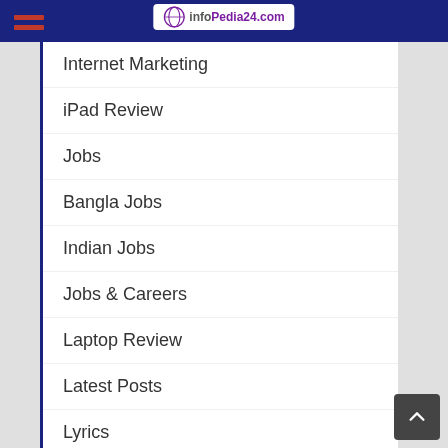infopedia24.com
Internet Marketing
iPad Review
Jobs
Bangla Jobs
Indian Jobs
Jobs & Careers
Laptop Review
Latest Posts
Lyrics
Album Songs